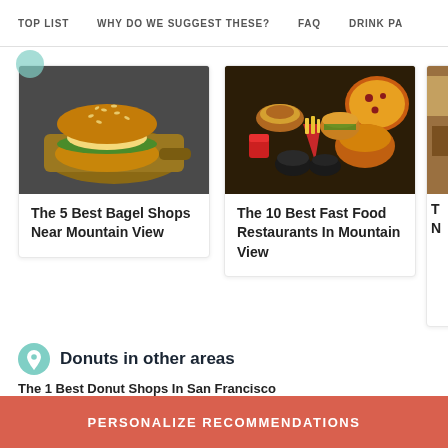TOP LIST   WHY DO WE SUGGEST THESE?   FAQ   DRINK PA
[Figure (photo): Bagel sandwich on a cutting board against dark background]
The 5 Best Bagel Shops Near Mountain View
[Figure (photo): Assorted fast food spread on dark wooden table]
The 10 Best Fast Food Restaurants In Mountain View
[Figure (photo): Partial view of a food photo (cropped)]
T N
Donuts in other areas
The 1 Best Donut Shops In San Francisco
PERSONALIZE RECOMMENDATIONS